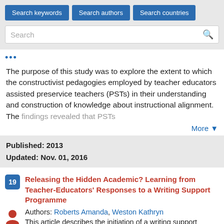Search keywords | Search authors | Search countries | Search
The purpose of this study was to explore the extent to which the constructivist pedagogies employed by teacher educators assisted preservice teachers (PSTs) in their understanding and construction of knowledge about instructional alignment. The findings revealed that PSTs
More ▼
Published: 2013
Updated: Nov. 01, 2016
Releasing the Hidden Academic? Learning from Teacher-Educators' Responses to a Writing Support Programme
Authors: Roberts Amanda, Weston Kathryn
This article describes the initiation of a writing support programme for teacher educators in a new university and